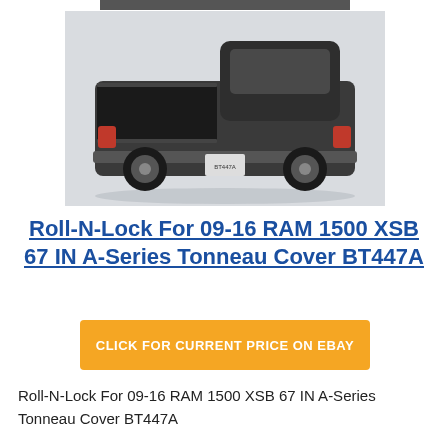[Figure (photo): Photo of a dark pickup truck with a Roll-N-Lock tonneau cover on the truck bed, viewed from the rear three-quarter angle.]
Roll-N-Lock For 09-16 RAM 1500 XSB 67 IN A-Series Tonneau Cover BT447A
CLICK FOR CURRENT PRICE ON EBAY
Roll-N-Lock For 09-16 RAM 1500 XSB 67 IN A-Series Tonneau Cover BT447A